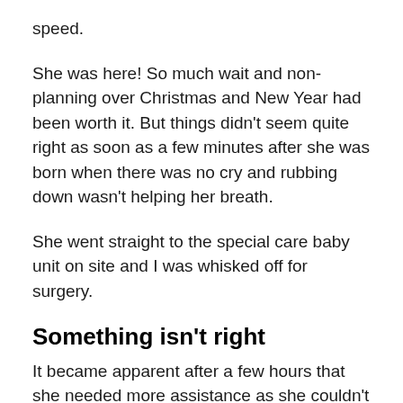speed.
She was here! So much wait and non-planning over Christmas and New Year had been worth it. But things didn't seem quite right as soon as a few minutes after she was born when there was no cry and rubbing down wasn't helping her breath.
She went straight to the special care baby unit on site and I was whisked off for surgery.
Something isn't right
It became apparent after a few hours that she needed more assistance as she couldn't get oxygen into her